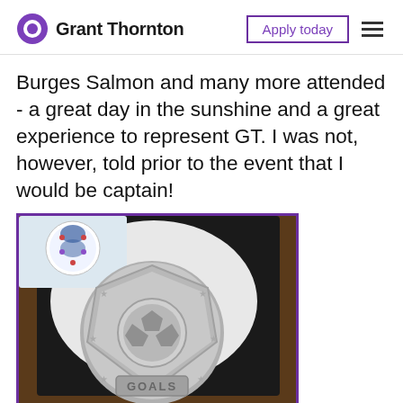Grant Thornton | Apply today
Burges Salmon and many more attended - a great day in the sunshine and a great experience to represent GT. I was not, however, told prior to the event that I would be captain!
[Figure (photo): A silver football/soccer captain's medal with 'GOALS' text inscribed, displayed in a black presentation box. An England football badge/crest is visible in the top left corner of the box.]